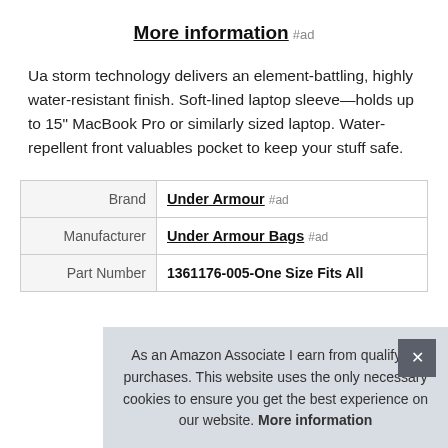More information #ad
Ua storm technology delivers an element-battling, highly water-resistant finish. Soft-lined laptop sleeve—holds up to 15" MacBook Pro or similarly sized laptop. Water-repellent front valuables pocket to keep your stuff safe.
|  |  |
| --- | --- |
| Brand | Under Armour #ad |
| Manufacturer | Under Armour Bags #ad |
| Part Number | 1361176-005-One Size Fits All |
As an Amazon Associate I earn from qualifying purchases. This website uses the only necessary cookies to ensure you get the best experience on our website. More information